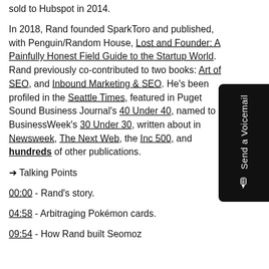sold to Hubspot in 2014.
In 2018, Rand founded SparkToro and published, with Penguin/Random House, Lost and Founder: A Painfully Honest Field Guide to the Startup World. Rand previously co-contributed to two books: Art of SEO, and Inbound Marketing & SEO. He's been profiled in the Seattle Times, featured in Puget Sound Business Journal's 40 Under 40, named to BusinessWeek's 30 Under 30, written about in Newsweek, The Next Web, the Inc 500, and hundreds of other publications.
➜ Talking Points
00:00 - Rand's story.
04:58 - Arbitraging Pokémon cards.
09:54 - How Rand built Seomoz...